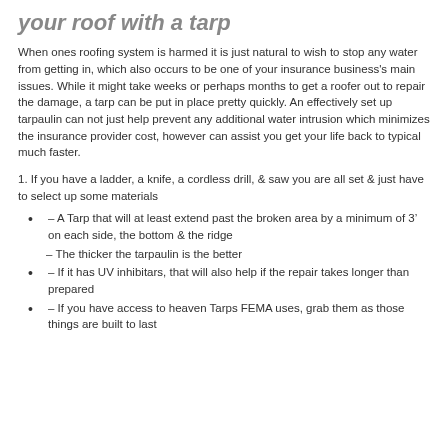your roof with a tarp
When ones roofing system is harmed it is just natural to wish to stop any water from getting in, which also occurs to be one of your insurance business's main issues. While it might take weeks or perhaps months to get a roofer out to repair the damage, a tarp can be put in place pretty quickly. An effectively set up tarpaulin can not just help prevent any additional water intrusion which minimizes the insurance provider cost, however can assist you get your life back to typical much faster.
1. If you have a ladder, a knife, a cordless drill, & saw you are all set & just have to select up some materials
– A Tarp that will at least extend past the broken area by a minimum of 3' on each side, the bottom & the ridge
– The thicker the tarpaulin is the better
– If it has UV inhibitars, that will also help if the repair takes longer than prepared
– If you have access to heaven Tarps FEMA uses, grab them as those things are built to last